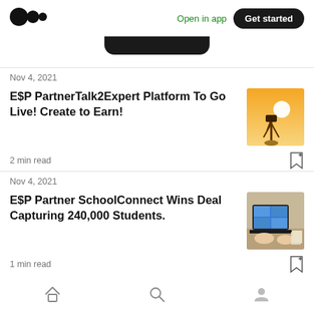[Figure (logo): Medium logo — two overlapping circles]
Open in app
Get started
Nov 4, 2021
E$P PartnerTalk2Expert Platform To Go Live! Create to Earn!
[Figure (photo): Silhouette of a person against bright sun in golden sky]
2 min read
Nov 4, 2021
E$P Partner SchoolConnect Wins Deal Capturing 240,000 Students.
[Figure (photo): Person using a laptop showing a video call, on a desk with papers]
1 min read